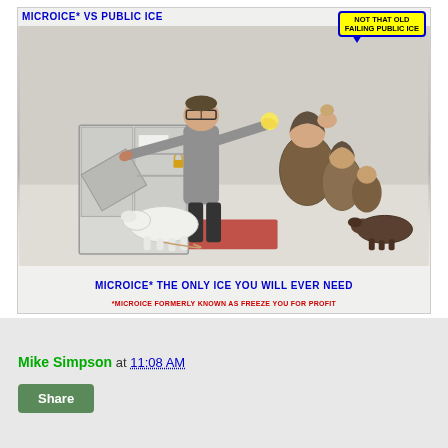[Figure (illustration): Satirical illustration styled as a vintage advertisement for 'MICROICE* VS PUBLIC ICE'. A man in a grey coat stands next to a refrigerator/freezer unit, gesturing toward a group of Inuit people with dogs. A yellow speech bubble reads 'Not That Old FAILING PUBLIC ICE'. Bottom text reads 'MICROICE* THE ONLY ICE YOU WILL EVER NEED' in blue, and '*MICROICE FORMERLY KNOWN AS FREEZE YOU FOR PROFIT' in red.]
Mike Simpson at 11:08 AM
Share